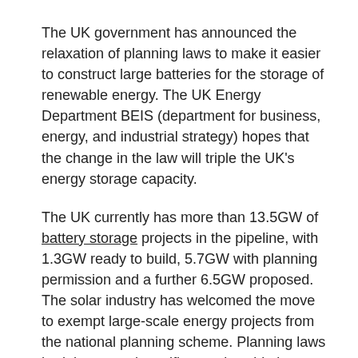The UK government has announced the relaxation of planning laws to make it easier to construct large batteries for the storage of renewable energy. The UK Energy Department BEIS (department for business, energy, and industrial strategy) hopes that the change in the law will triple the UK's energy storage capacity.
The UK currently has more than 13.5GW of battery storage projects in the pipeline, with 1.3GW ready to build, 5.7GW with planning permission and a further 6.5GW proposed. The solar industry has welcomed the move to exempt large-scale energy projects from the national planning scheme. Planning laws had threatened to stifle a nationwide battery boom. The new policy gives a significant boost to a fast expanding economy by allowing developers to avoid all the red tape and higher costs associated with finding your way around the